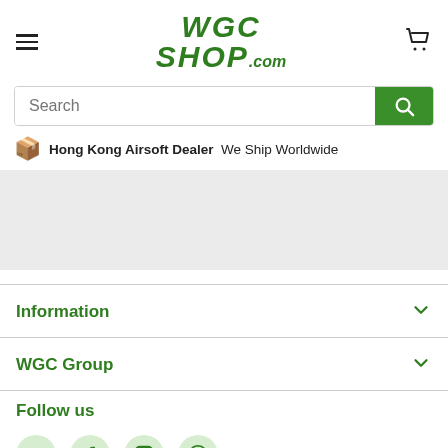WGC Shop - Hong Kong Airsoft Dealer, We Ship Worldwide
[Figure (logo): WGCShop.com logo in green italic bold text]
Search
🟡 Hong Kong Airsoft Dealer  We Ship Worldwide
Information
WGC Group
Follow us
[Figure (infographic): Social media icons: email, Facebook, Instagram, WhatsApp]